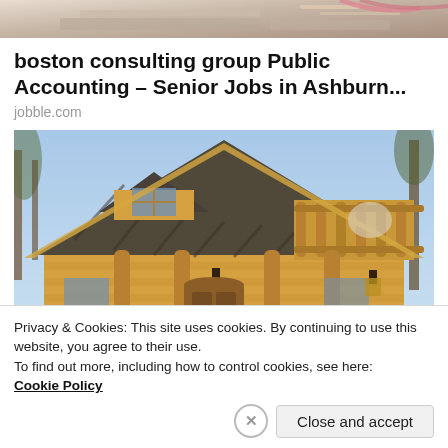[Figure (photo): Partial top image showing what appears to be a desk with laptop and cables, cropped at the top of the page]
boston consulting group Public Accounting – Senior Jobs in Ashburn...
jobble.com
[Figure (photo): Photo of a wooden log cabin / chalet style house with dark shingle roof, dormer window, balcony with log railings, and a lantern, photographed from below against a blue sky with bare trees]
Privacy & Cookies: This site uses cookies. By continuing to use this website, you agree to their use.
To find out more, including how to control cookies, see here:
Cookie Policy
Close and accept